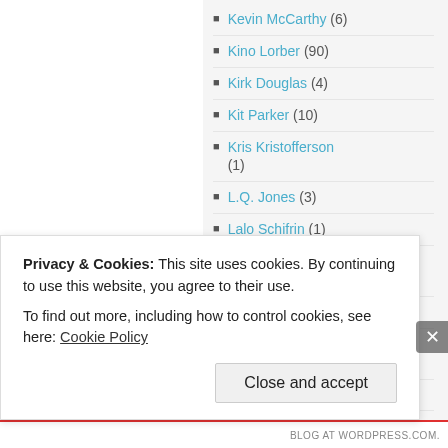Kevin McCarthy (6)
Kino Lorber (90)
Kirk Douglas (4)
Kit Parker (10)
Kris Kristofferson (1)
L.Q. Jones (3)
Lalo Schifrin (1)
Lambert Hillyer (1)
Laszlo Kovacs (1)
Laurel & Hardy (3)
Privacy & Cookies: This site uses cookies. By continuing to use this website, you agree to their use. To find out more, including how to control cookies, see here: Cookie Policy
Close and accept